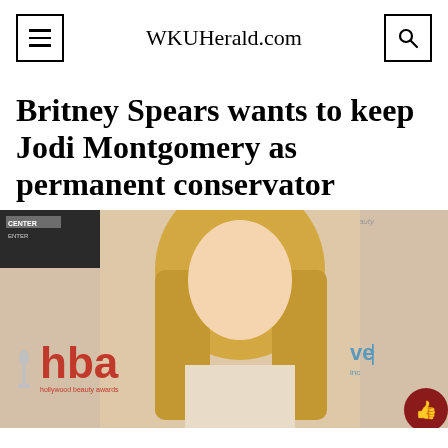WKUHerald.com
Britney Spears wants to keep Jodi Montgomery as permanent conservator
[Figure (photo): Photo of Britney Spears at an event with Hollywood Beauty Awards (hba) branding and red carpet backdrop]